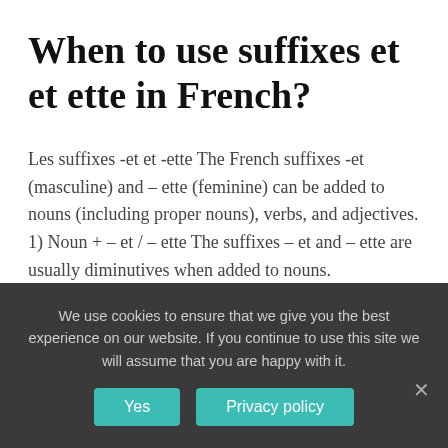When to use suffixes et et ette in French?
Les suffixes -et et -ette The French suffixes -et (masculine) and – ette (feminine) can be added to nouns (including proper nouns), verbs, and adjectives. 1) Noun + – et / – ette The suffixes – et and – ette are usually diminutives when added to nouns.
Can a suffix be added to a
We use cookies to ensure that we give you the best experience on our website. If you continue to use this site we will assume that you are happy with it.
Yes
Privacy policy